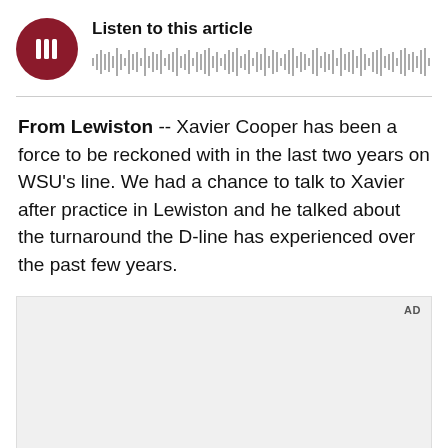[Figure (other): Audio player widget with dark red circular play button and waveform visualization. Label reads 'Listen to this article'.]
From Lewiston -- Xavier Cooper has been a force to be reckoned with in the last two years on WSU's line. We had a chance to talk to Xavier after practice in Lewiston and he talked about the turnaround the D-line has experienced over the past few years.
[Figure (other): Advertisement placeholder box with 'AD' label in top right corner.]